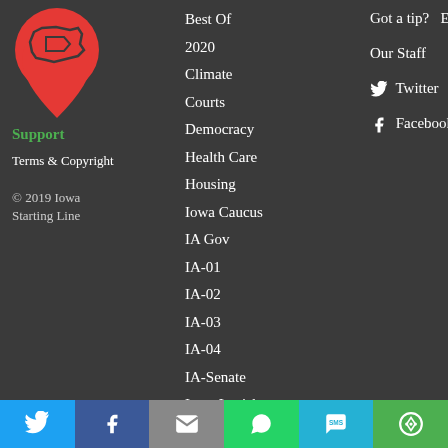[Figure (logo): Iowa Starting Line logo: red map pin with Iowa outline]
Support
Terms & Copyright
© 2019 Iowa Starting Line
Best Of
2020
Climate
Courts
Democracy
Health Care
Housing
Iowa Caucus
IA Gov
IA-01
IA-02
IA-03
IA-04
IA-Senate
Iowa Legislature
Got a tip?  Email us.
Our Staff
Twitter
Facebook
[Figure (infographic): Social sharing bar with Twitter, Facebook, Email, WhatsApp, SMS, and More buttons]